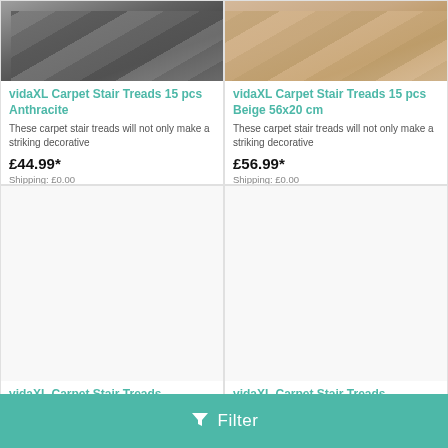[Figure (photo): vidaXL Carpet Stair Treads 15 pcs Anthracite – dark grey stair treads image]
vidaXL Carpet Stair Treads 15 pcs Anthracite
These carpet stair treads will not only make a striking decorative
£44.99*
Shipping: £0.00
[Figure (photo): vidaXL Carpet Stair Treads 15 pcs Beige 56x20 cm – beige stair treads image]
vidaXL Carpet Stair Treads 15 pcs Beige 56x20 cm
These carpet stair treads will not only make a striking decorative
£56.99*
Shipping: £0.00
[Figure (photo): vidaXL Carpet Stair Treads 15 pcs Cream 65x25 cm – white/cream image placeholder]
vidaXL Carpet Stair Treads 15 pcs Cream 65x25 cm
[Figure (photo): vidaXL Carpet Stair Treads 15 pcs Burgundy Red – image placeholder]
vidaXL Carpet Stair Treads 15 pcs Burgundy Red
Filter